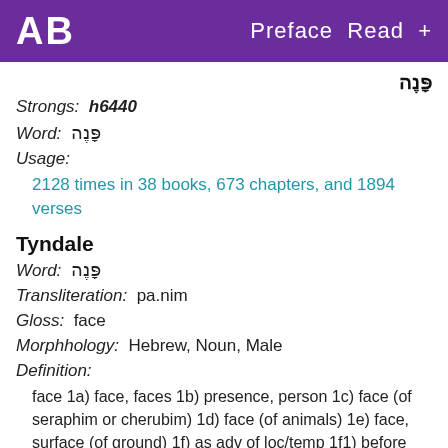AB   Preface  Read  +
פָּנֶה
Strongs:  h6440
Word:  פָּנֶה
Usage:
2128 times in 38 books, 673 chapters, and 1894 verses
Tyndale
Word:  פָּנֶה
Transliteration:  pa.nim
Gloss:  face
Morphhology:  Hebrew, Noun, Male
Definition:
face 1a) face, faces 1b) presence, person 1c) face (of seraphim or cherubim) 1d) face (of animals) 1e) face, surface (of ground) 1f) as adv of loc/temp 1f1) before and behind, toward, in front of, forward, formerly, from beforetime, before 1g) with prep 1g1) in front